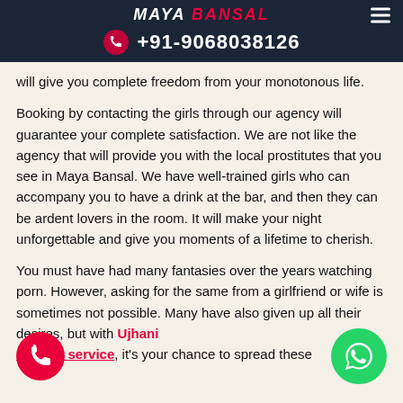MAYA BANSAL +91-9068038126
will give you complete freedom from your monotonous life.
Booking by contacting the girls through our agency will guarantee your complete satisfaction. We are not like the agency that will provide you with the local prostitutes that you see in Maya Bansal. We have well-trained girls who can accompany you to have a drink at the bar, and then they can be ardent lovers in the room. It will make your night unforgettable and give you moments of a lifetime to cherish.
You must have had many fantasies over the years watching porn. However, asking for the same from a girlfriend or wife is sometimes not possible. Many have also given up all their desires, but with Ujhani escorts service, it's your chance to spread these